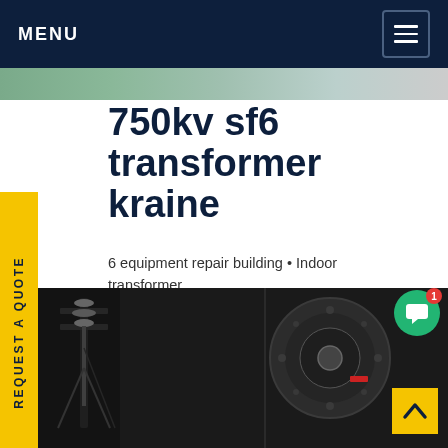MENU
750kv sf6 transformer Ukraine
6 equipment repair building • Indoor transformer t 10/0.4 kV N1,2,3,4,5 • Combined Repair eration Needs Building • Household waste water atment plants • Rainfall water treatment ntsGet price
[Figure (photo): Industrial transformer equipment photograph — dark background showing large transformer components with metal fittings and structural hardware]
[Figure (other): Yellow REQUEST A QUOTE sidebar button with vertical text]